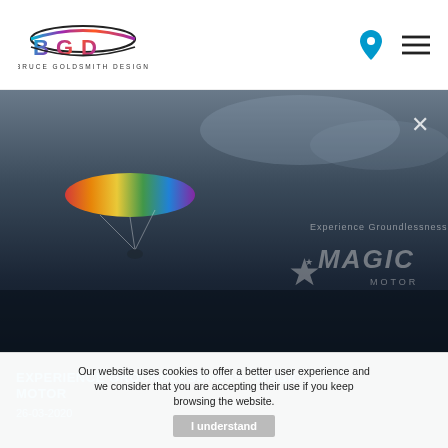[Figure (logo): Bruce Goldsmith Design logo with colorful arc and stylized BGD letters]
[Figure (photo): Paraglider with colorful wing flying over dark landscape at dusk, with Magic Motor branding overlay and X close button]
EXPERIENCE GROUNDLESSNESS - MAGIC MOTOR
26-03-2020
Our website uses cookies to offer a better user experience and we consider that you are accepting their use if you keep browsing the website.
I understand